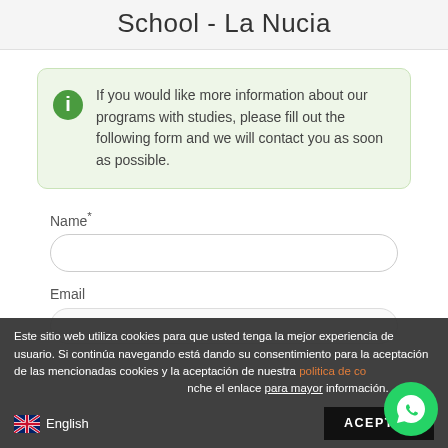School - La Nucia
If you would like more information about our programs with studies, please fill out the following form and we will contact you as soon as possible.
Name*
Email
Este sitio web utiliza cookies para que usted tenga la mejor experiencia de usuario. Si continúa navegando está dando su consentimiento para la aceptación de las mencionadas cookies y la aceptación de nuestra politica de cookies, pinche el enlace para mayor información.
English
ACEPTAR